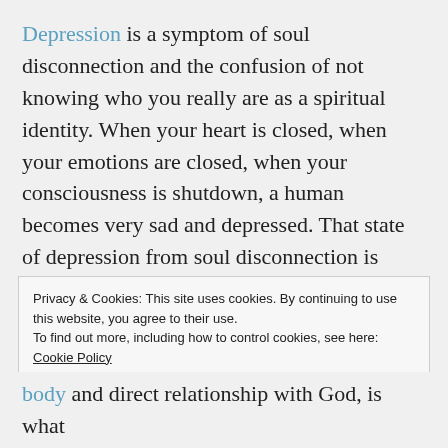Depression is a symptom of soul disconnection and the confusion of not knowing who you really are as a spiritual identity. When your heart is closed, when your emotions are closed, when your consciousness is shutdown, a human becomes very sad and depressed. That state of depression from soul disconnection is related to this black subtle frequency force that is transmitted from the moon, from lunar forces and from the artificial control of the magnetic field. The more spiritually developed
Privacy & Cookies: This site uses cookies. By continuing to use this website, you agree to their use.
To find out more, including how to control cookies, see here: Cookie Policy
body and direct relationship with God, is what